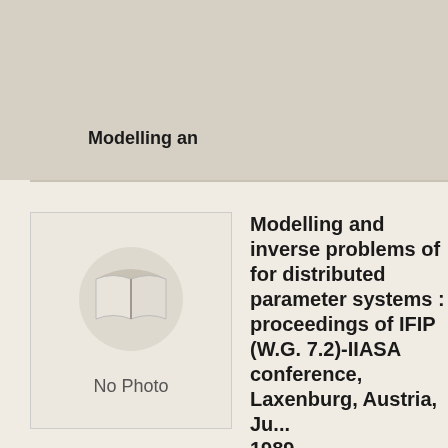Modelling an
[Figure (illustration): Book cover placeholder with open book icon and 'No Photo' label]
Modelling and inverse problems of control for distributed parameter systems : proceedings of IFIP (W.G. 7.2)-IIASA conference, Laxenburg, Austria, Ju... 1989
A. Kurzhanski, I. Lasiecka (eds.)
This book discusses inverse problems that arise in the and control of distributed parameter systems in the fa uncertainty, as well as applications of these techniqu mathematical modelling for problems of applied syste environmental issues, technological issues, technolo processes, biomethematical models, mathematical e other fields). The main topics of the research papers comprise this book are: estimation of the state and o parameters for distributed parameter systems, contr with state constraints, exponential stabilization and s optimization. This book of proceedings on control the